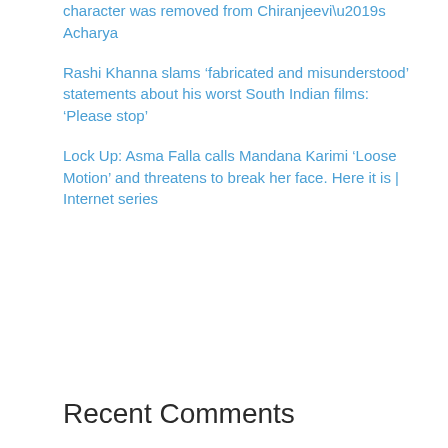character was removed from Chiranjeevi’s Acharya
Rashi Khanna slams ‘fabricated and misunderstood’ statements about his worst South Indian films: ‘Please stop’
Lock Up: Asma Falla calls Mandana Karimi ‘Loose Motion’ and threatens to break her face. Here it is | Internet series
Recent Comments